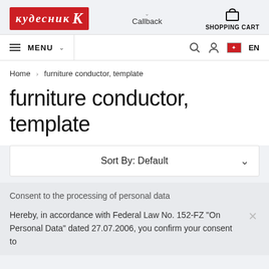[Figure (logo): Kudesnik K logo - red background with white Cyrillic text and K letter]
Callback
SHOPPING CART
MENU
EN
Home › furniture conductor, template
furniture conductor, template
Sort By: Default
Consent to the processing of personal data
Hereby, in accordance with Federal Law No. 152-FZ "On Personal Data" dated 27.07.2006, you confirm your consent to